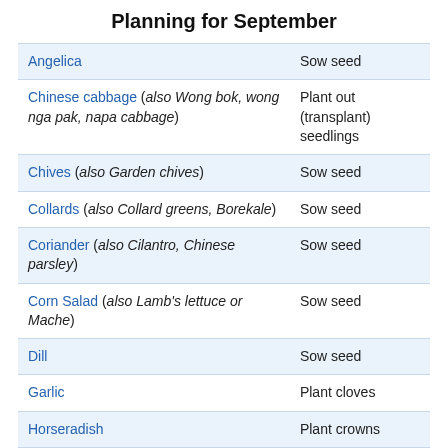Planning for September
|  |  |
| --- | --- |
| Angelica | Sow seed |
| Chinese cabbage (also Wong bok, wong nga pak, napa cabbage) | Plant out (transplant) seedlings |
| Chives (also Garden chives) | Sow seed |
| Collards (also Collard greens, Borekale) | Sow seed |
| Coriander (also Cilantro, Chinese parsley) | Sow seed |
| Corn Salad (also Lamb's lettuce or Mache) | Sow seed |
| Dill | Sow seed |
| Garlic | Plant cloves |
| Horseradish | Plant crowns |
| Kale (also Borecole) | Sow seed |